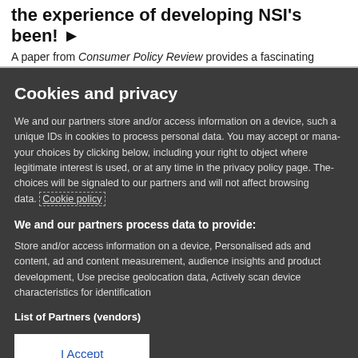the experience of developing NSI's been! ▶
A paper from Consumer Policy Review provides a fascinating
Cookies and privacy
We and our partners store and/or access information on a device, such a unique IDs in cookies to process personal data. You may accept or manage your choices by clicking below, including your right to object where legitimate interest is used, or at any time in the privacy policy page. These choices will be signaled to our partners and will not affect browsing data. Cookie policy
We and our partners process data to provide:
Store and/or access information on a device, Personalised ads and content, ad and content measurement, audience insights and product development, Use precise geolocation data, Actively scan device characteristics for identification
List of Partners (vendors)
I Accept